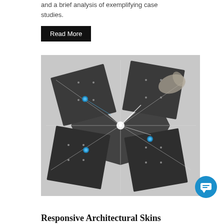and a brief analysis of exemplifying case studies.
Read More
[Figure (photo): Black and white photograph of modular architectural panels or kinetic structural components arranged in a star/pinwheel pattern, with a hand visible at top right. Blue dot markers overlaid on the image connected by lines.]
Responsive Architectural Skins